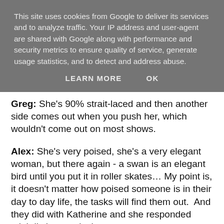This site uses cookies from Google to deliver its services and to analyze traffic. Your IP address and user-agent are shared with Google along with performance and security metrics to ensure quality of service, generate usage statistics, and to detect and address abuse.
LEARN MORE   OK
Greg: She's 90% strait-laced and then another side comes out when you push her, which wouldn't come out on most shows.
Alex: She's very poised, she's a very elegant woman, but there again - a swan is an elegant bird until you put it in roller skates… My point is, it doesn't matter how poised someone is in their day to day life, the tasks will find them out.  And they did with Katherine and she responded mightily impressively.